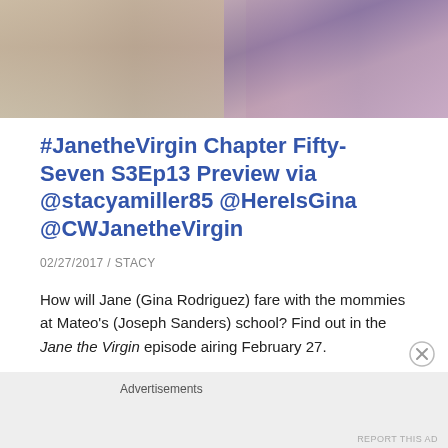[Figure (photo): Cropped photo showing parts of two people, one in a light beige outfit and one in a purple floral top/dress]
#JanetheVirgin Chapter Fifty-Seven S3Ep13 Preview via @stacyamiller85 @HereIsGina @CWJanetheVirgin
02/27/2017 / STACY
How will Jane (Gina Rodriguez) fare with the mommies at Mateo's (Joseph Sanders) school? Find out in the Jane the Virgin episode airing February 27.
Advertisements